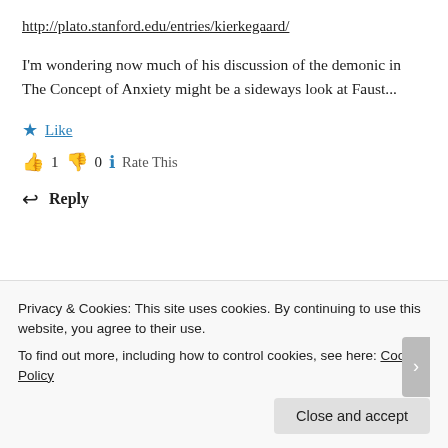http://plato.stanford.edu/entries/kierkegaard/
I'm wondering now much of his discussion of the demonic in The Concept of Anxiety might be a sideways look at Faust...
★ Like
👍 1 👎 0 ℹ Rate This
↩ Reply
Privacy & Cookies: This site uses cookies. By continuing to use this website, you agree to their use.
To find out more, including how to control cookies, see here: Cookie Policy
Close and accept